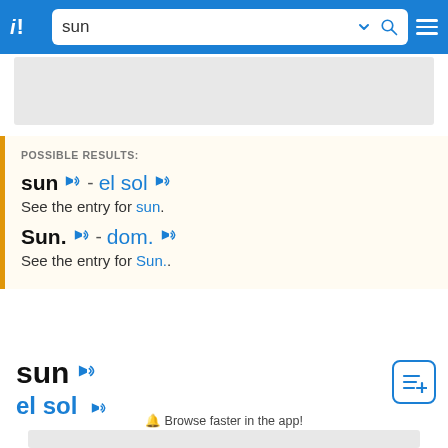i! sun [search bar with dropdown and search icon] [menu icon]
[Figure (screenshot): Gray advertisement placeholder banner]
POSSIBLE RESULTS:
sun 🔊 - el sol 🔊
See the entry for sun.
Sun. 🔊 - dom. 🔊
See the entry for Sun..
sun 🔊
el sol 🔊
🔔 Browse faster in the app!
[Figure (screenshot): Gray advertisement placeholder banner at bottom]